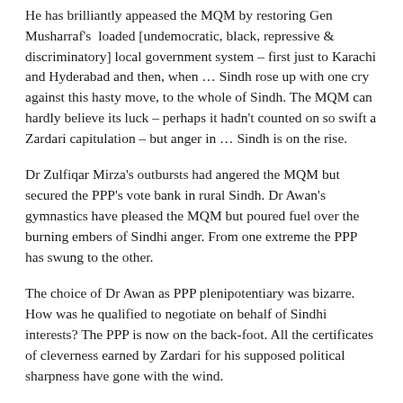He has brilliantly appeased the MQM by restoring Gen Musharraf's loaded [undemocratic, black, repressive & discriminatory] local government system – first just to Karachi and Hyderabad and then, when … Sindh rose up with one cry against this hasty move, to the whole of Sindh. The MQM can hardly believe its luck – perhaps it hadn't counted on so swift a Zardari capitulation – but anger in … Sindh is on the rise.
Dr Zulfiqar Mirza's outbursts had angered the MQM but secured the PPP's vote bank in rural Sindh. Dr Awan's gymnastics have pleased the MQM but poured fuel over the burning embers of Sindhi anger. From one extreme the PPP has swung to the other.
The choice of Dr Awan as PPP plenipotentiary was bizarre. How was he qualified to negotiate on behalf of Sindhi interests? The PPP is now on the back-foot. All the certificates of cleverness earned by Zardari for his supposed political sharpness have gone with the wind.